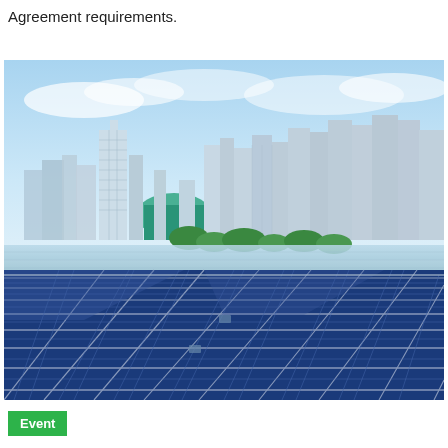Agreement requirements.
[Figure (photo): Solar panels in the foreground with a city skyline in the background under a blue sky with light clouds.]
Event